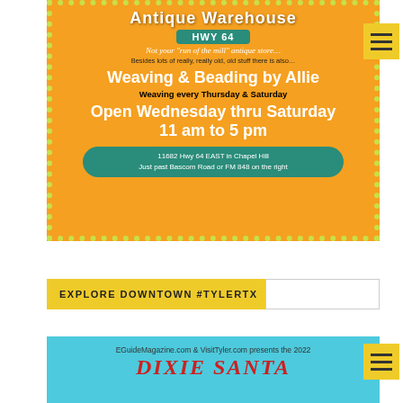[Figure (illustration): Advertisement for Antique Warehouse HWY 64. Orange background with green dotted border. Text: 'Not your "run of the mill" antique store... Besides lots of really, really old, old stuff there is also... Weaving & Beading by Allie. Weaving every Thursday & Saturday. Open Wednesday thru Saturday 11 am to 5 pm. 11682 Hwy 64 EAST in Chapel Hill, just past Bascom Road or FM 848 on the right.']
EXPLORE DOWNTOWN #TYLERTX
[Figure (illustration): Bottom advertisement showing teal/cyan background with text: 'EGuideMagazine.com & VisitTyler.com presents the 2022' and large red stylized text partially visible at bottom (Dixie Santa or similar).]